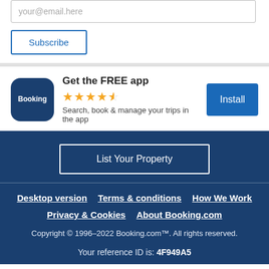your@email.here
Subscribe
[Figure (logo): Booking.com app icon — dark blue rounded square with 'Booking' text in white]
Get the FREE app
★★★★½ (4.5 stars)
Search, book & manage your trips in the app
Install
List Your Property
Desktop version   Terms & conditions   How We Work   Privacy & Cookies   About Booking.com   Copyright © 1996–2022 Booking.com™. All rights reserved.   Your reference ID is: 4F949A5